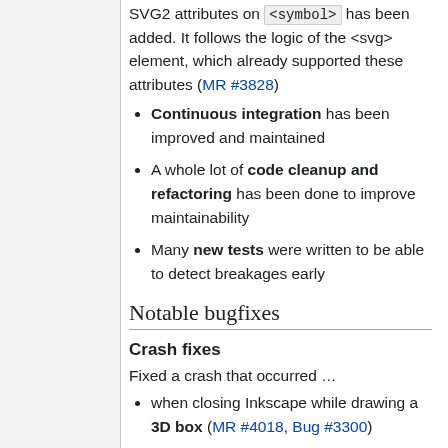SVG2 attributes on <symbol> has been added. It follows the logic of the <svg> element, which already supported these attributes (MR #3828)
Continuous integration has been improved and maintained
A whole lot of code cleanup and refactoring has been done to improve maintainability
Many new tests were written to be able to detect breakages early
Notable bugfixes
Crash fixes
Fixed a crash that occurred …
when closing Inkscape while drawing a 3D box (MR #4018, Bug #3300)